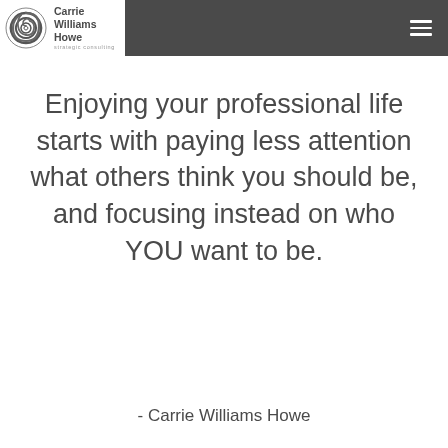Carrie Williams Howe — strategic consulting
Enjoying your professional life starts with paying less attention what others think you should be, and focusing instead on who YOU want to be.
- Carrie Williams Howe